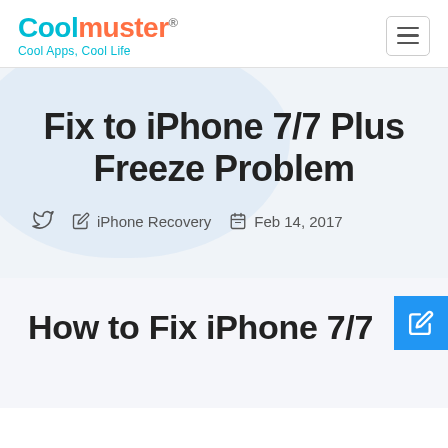Coolmuster® — Cool Apps, Cool Life
Fix to iPhone 7/7 Plus Freeze Problem
iPhone Recovery   Feb 14, 2017
How to Fix iPhone 7/7